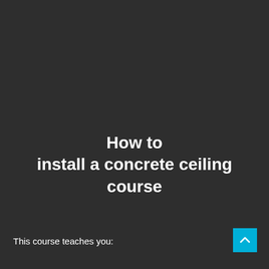How to install a concrete ceiling course
This course teaches you: